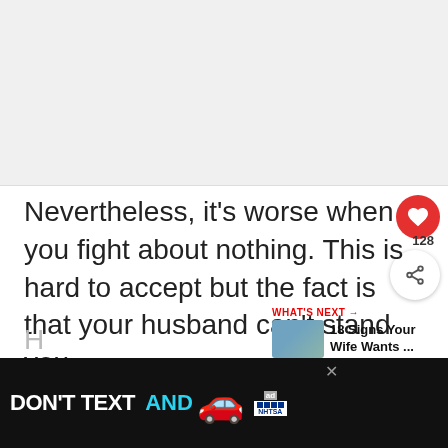[Figure (photo): Light gray placeholder image area at the top of the page]
Nevertheless, it's worse when you fight about nothing. This is hard to accept but the fact is that your husband can't stand you.
[Figure (infographic): WHAT'S NEXT arrow label with thumbnail image and text: 18 Signs Your Wife Wants ...]
[Figure (screenshot): Ad banner: DON'T TEXT AND [car emoji] with ad and NHTSA logos]
H... n... hts to...